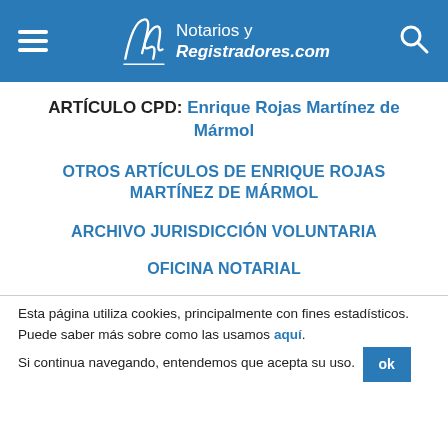Notarios y Registradores.com
ARTÍCULO CPD: Enrique Rojas Martínez de Mármol
OTROS ARTÍCULOS DE ENRIQUE ROJAS MARTÍNEZ DE MÁRMOL
ARCHIVO JURISDICCIÓN VOLUNTARIA
OFICINA NOTARIAL
Esta página utiliza cookies, principalmente con fines estadísticos. Puede saber más sobre como las usamos aquí. Si continua navegando, entendemos que acepta su uso.